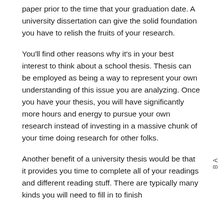paper prior to the time that your graduation date. A university dissertation can give the solid foundation you have to relish the fruits of your research.
You'll find other reasons why it's in your best interest to think about a school thesis. Thesis can be employed as being a way to represent your own understanding of this issue you are analyzing. Once you have your thesis, you will have significantly more hours and energy to pursue your own research instead of investing in a massive chunk of your time doing research for other folks.
Another benefit of a university thesis would be that it provides you time to complete all of your readings and different reading stuff. There are typically many kinds you will need to fill in to finish